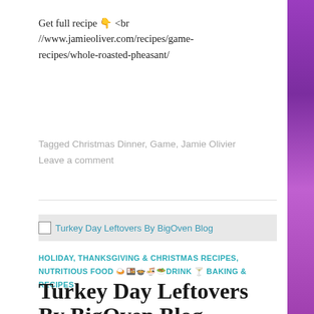Get full recipe 👇 <br //www.jamieoliver.com/recipes/game-recipes/whole-roasted-pheasant/
Tagged Christmas Dinner, Game, Jamie Olivier
Leave a comment
[Figure (screenshot): Thumbnail image placeholder for Turkey Day Leftovers By BigOven Blog]
HOLIDAY, THANKSGIVING & CHRISTMAS RECIPES, NUTRITIOUS FOOD 🍛🍱🍲🍜🥗DRINK 🍸 BAKING & RECIPES
Turkey Day Leftovers By BigOven Blog